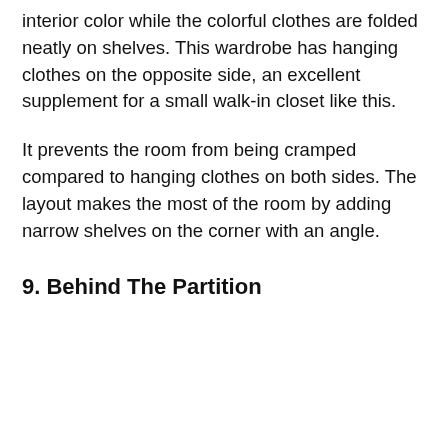interior color while the colorful clothes are folded neatly on shelves. This wardrobe has hanging clothes on the opposite side, an excellent supplement for a small walk-in closet like this.
It prevents the room from being cramped compared to hanging clothes on both sides. The layout makes the most of the room by adding narrow shelves on the corner with an angle.
9. Behind The Partition